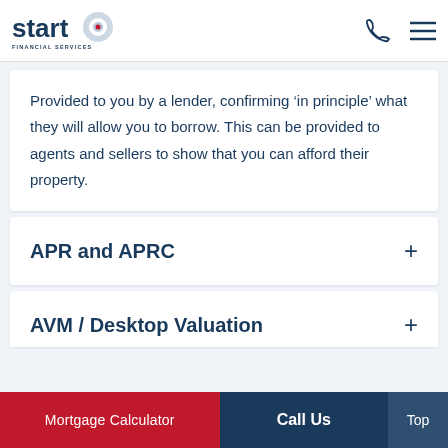Start Financial Services
Provided to you by a lender, confirming ‘in principle’ what they will allow you to borrow. This can be provided to agents and sellers to show that you can afford their property.
APR and APRC
AVM / Desktop Valuation
Mortgage Calculator | Call Us | Top